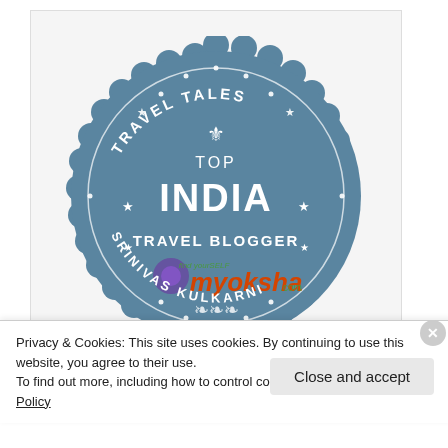[Figure (logo): Travel Tales Top India Travel Blogger badge from myoksha.com for Srinivas Kulkarni. Blue scalloped circular badge with white text and decorative elements, featuring the myoksha.com logo in the center.]
Privacy & Cookies: This site uses cookies. By continuing to use this website, you agree to their use.
To find out more, including how to control cookies, see here: Cookie Policy
Close and accept